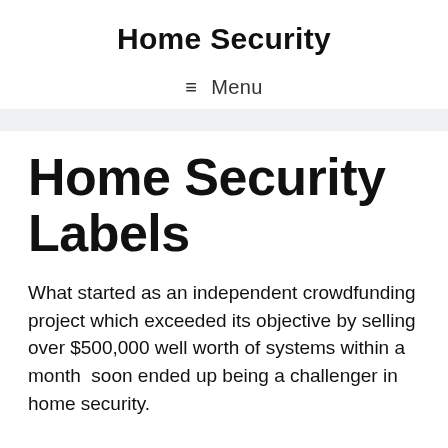Home Security
≡ Menu
Home Security Labels
What started as an independent crowdfunding project which exceeded its objective by selling over $500,000 well worth of systems within a month  soon ended up being a challenger in home security.